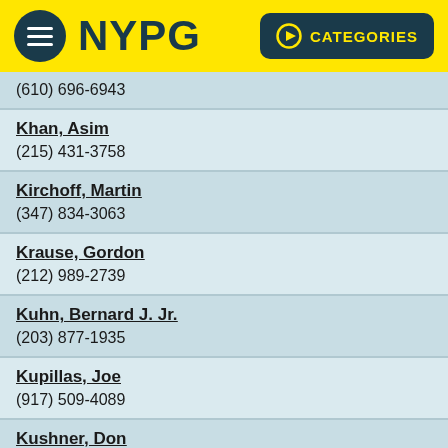NYPG  CATEGORIES
(610) 696-6943
Khan, Asim
(215) 431-3758
Kirchoff, Martin
(347) 834-3063
Krause, Gordon
(212) 989-2739
Kuhn, Bernard J. Jr.
(203) 877-1935
Kupillas, Joe
(917) 509-4089
Kushner, Don
(307) 690-4622
L... (partial)